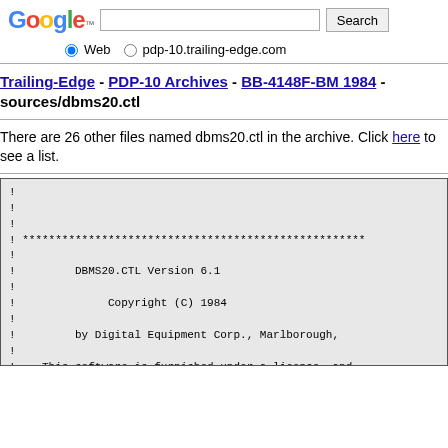Google [search bar] Search — Web | pdp-10.trailing-edge.com
Trailing-Edge - PDP-10 Archives - BB-4148F-BM 1984 - sources/dbms20.ctl
There are 26 other files named dbms20.ctl in the archive. Click here to see a list.
[Figure (screenshot): Source code file viewer showing DBMS20.CTL Version 6.1, Copyright (C) 1984 by Digital Equipment Corp., Marlborough, with license notice and asterisk border lines.]